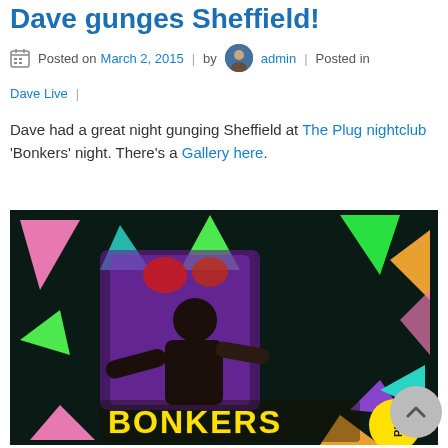Dave gunges Sheffield!
Posted on March 2, 2015 | by admin | Posted in Dave Live |
Dave had a great night gunging Sheffield at The Plug nightclub 'Bonkers' night. There's a Gallery here.
[Figure (photo): Photo from inside The Plug nightclub during the 'Bonkers' night event, showing a performer on stage with colorful geometric shapes (triangles in pink, green, blue, orange, purple) decorating the background. The word 'BONKERS' is displayed at the bottom in yellow block letters, with the 'Plug' logo in a yellow circle at the bottom right.]